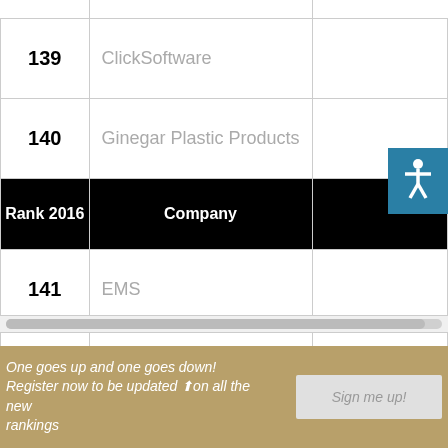| Rank 2016 | Company |  |
| --- | --- | --- |
| 139 | ClickSoftware |  |
| 140 | Ginegar Plastic Products |  |
| Rank 2016 | Company |  |
| 141 | EMS |  |
| 142 | Maytronics |  |
One goes up and one goes down! Register now to be updated on all the new rankings